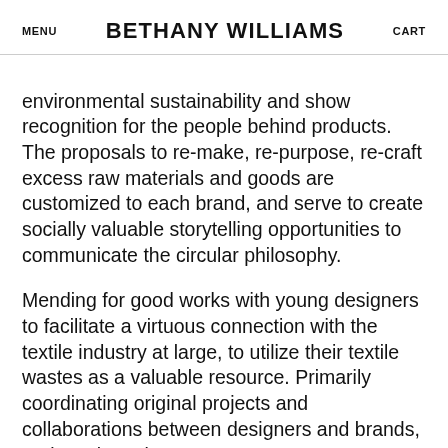MENU | BETHANY WILLIAMS | CART
environmental sustainability and show recognition for the people behind products. The proposals to re-make, re-purpose, re-craft excess raw materials and goods are customized to each brand, and serve to create socially valuable storytelling opportunities to communicate the circular philosophy.
Mending for good works with young designers to facilitate a virtuous connection with the textile industry at large, to utilize their textile wastes as a valuable resource. Primarily coordinating original projects and collaborations between designers and brands, and a selected